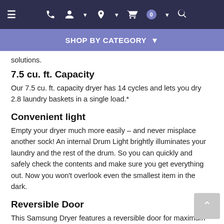Navigation bar with hamburger menu, phone, account, location, cart (0), search icons
SHOP BY CATEGORY ▼
solutions.
7.5 cu. ft. Capacity
Our 7.5 cu. ft. capacity dryer has 14 cycles and lets you dry 2.8 laundry baskets in a single load.*
Convenient light
Empty your dryer much more easily – and never misplace another sock! An internal Drum Light brightly illuminates your laundry and the rest of the drum. So you can quickly and safely check the contents and make sure you get everything out. Now you won't overlook even the smallest item in the dark.
Reversible Door
This Samsung Dryer features a reversible door for maximum convenience. Easily change which direction the door opens to accommodate your laundry space.